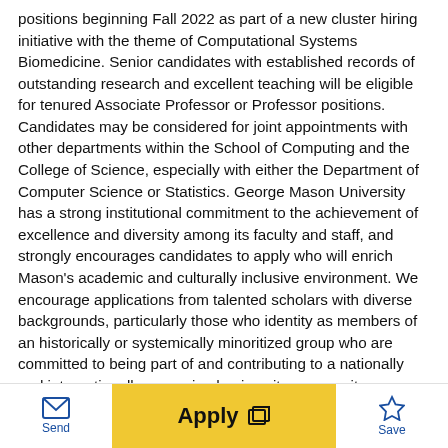positions beginning Fall 2022 as part of a new cluster hiring initiative with the theme of Computational Systems Biomedicine. Senior candidates with established records of outstanding research and excellent teaching will be eligible for tenured Associate Professor or Professor positions. Candidates may be considered for joint appointments with other departments within the School of Computing and the College of Science, especially with either the Department of Computer Science or Statistics. George Mason University has a strong institutional commitment to the achievement of excellence and diversity among its faculty and staff, and strongly encourages candidates to apply who will enrich Mason's academic and culturally inclusive environment. We encourage applications from talented scholars with diverse backgrounds, particularly those who identity as members of an historically or systemically minoritized group who are committed to being part of and contributing to a nationally and internationally recognized university community. Responsibilities:We are seeking candidates to lead the new